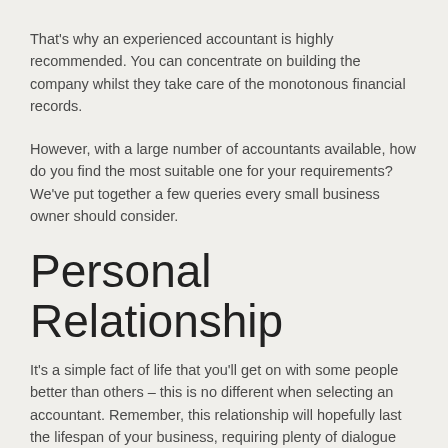That's why an experienced accountant is highly recommended. You can concentrate on building the company whilst they take care of the monotonous financial records.
However, with a large number of accountants available, how do you find the most suitable one for your requirements? We've put together a few queries every small business owner should consider.
Personal Relationship
It's a simple fact of life that you'll get on with some people better than others – this is no different when selecting an accountant. Remember, this relationship will hopefully last the lifespan of your business, requiring plenty of dialogue along the way. You really want someone who you click with on a personal level.
Cost